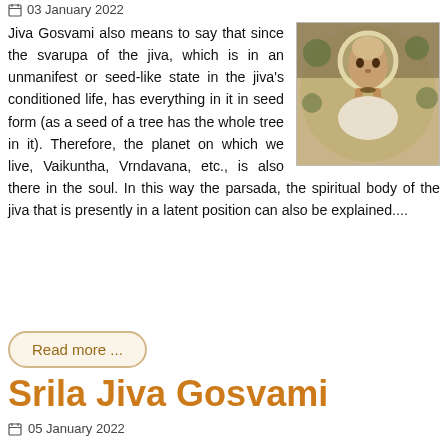03 January 2022
Jiva Gosvami also means to say that since the svarupa of the jiva, which is in an unmanifest or seed-like state in the jiva's conditioned life, has everything in it in seed form (as a seed of a tree has the whole tree in it). Therefore, the planet on which we live, Vaikuntha, Vrndavana, etc., is also there in the soul. In this way the parsada, the spiritual body of the jiva that is presently in a latent position can also be explained....
[Figure (illustration): Painting of a saintly figure with a halo, hands in prayer position, with floral background]
Read more ...
Srila Jiva Gosvami
05 January 2022